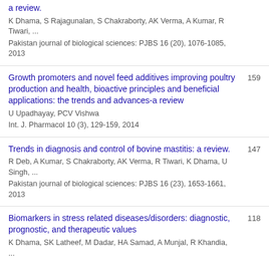a review.
K Dhama, S Rajagunalan, S Chakraborty, AK Verma, A Kumar, R Tiwari, ...
Pakistan journal of biological sciences: PJBS 16 (20), 1076-1085, 2013
Growth promoters and novel feed additives improving poultry production and health, bioactive principles and beneficial applications: the trends and advances-a review
U Upadhayay, PCV Vishwa
Int. J. Pharmacol 10 (3), 129-159, 2014
159
Trends in diagnosis and control of bovine mastitis: a review.
R Deb, A Kumar, S Chakraborty, AK Verma, R Tiwari, K Dhama, U Singh, ...
Pakistan journal of biological sciences: PJBS 16 (23), 1653-1661, 2013
147
Biomarkers in stress related diseases/disorders: diagnostic, prognostic, and therapeutic values
K Dhama, SK Latheef, M Dadar, HA Samad, A Munjal, R Khandia, ...
118